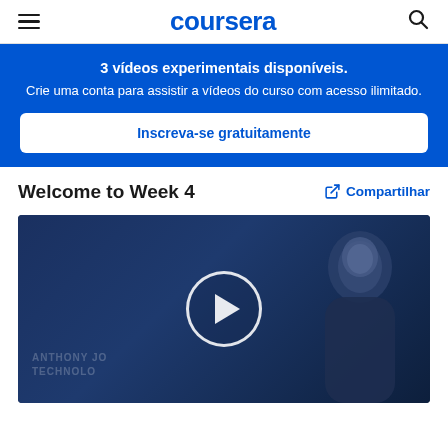coursera
3 vídeos experimentais disponíveis. Crie uma conta para assistir a vídeos do curso com acesso ilimitado.
Inscreva-se gratuitamente
Welcome to Week 4
Compartilhar
[Figure (screenshot): Video thumbnail showing a person (Anthony Jo) with a dark blue background and a white play button circle in the center.]